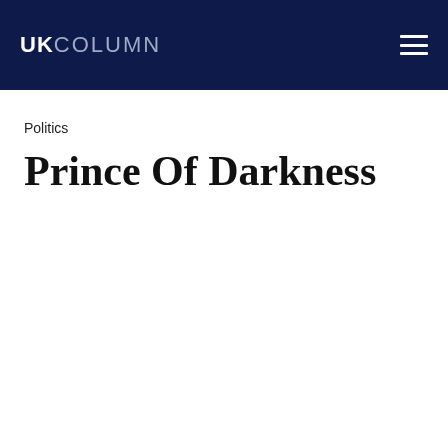UKCOLUMN
Politics
Prince Of Darkness